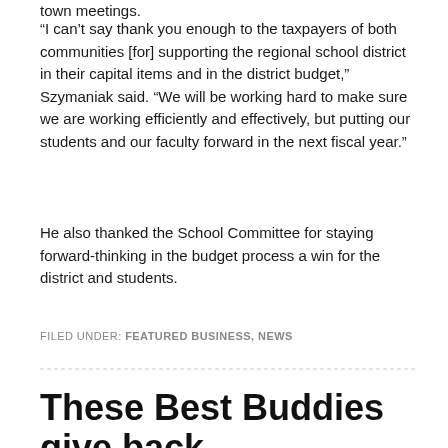town meetings.
“I can’t say thank you enough to the taxpayers of both communities [for] supporting the regional school district in their capital items and in the district budget,” Szymaniak said. “We will be working hard to make sure we are working efficiently and effectively, but putting our students and our faculty forward in the next fiscal year.”
He also thanked the School Committee for staying forward-thinking in the budget process a win for the district and students.
FILED UNDER: FEATURED BUSINESS, NEWS
These Best Buddies give back